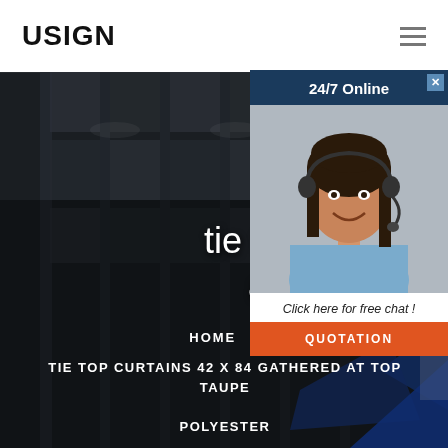USIGN
[Figure (photo): Dark architectural hero background image showing a building interior with dark tones, steel/concrete structures, with a large blue geometric logo partially visible at lower right]
tie top curtains 42 x 84 gathered at top taupe polyester
HOME /
TIE TOP CURTAINS 42 X 84 GATHERED AT TOP TAUPE POLYESTER
[Figure (photo): Advertisement popup showing a woman with a headset smiling, labeled 24/7 Online with a Click here for free chat button and QUOTATION orange button]